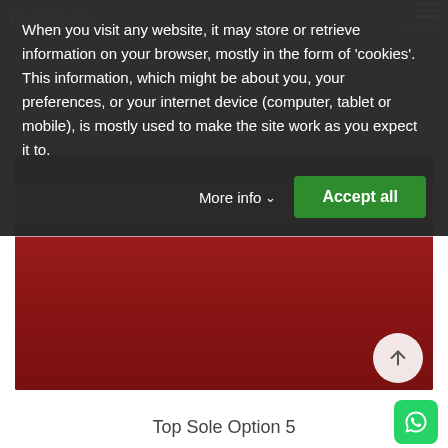[Figure (photo): Screenshot of a fashion e-commerce website (RossaSpina) showing a cookie consent banner overlay on a product image. The product is a model wearing a dark red/maroon crop top and red skirt. The cookie banner is a dark semi-transparent overlay at the top with text and an 'Accept all' green button.]
When you visit any website, it may store or retrieve information on your browser, mostly in the form of 'cookies'. This information, which might be about you, your preferences, or your internet device (computer, tablet or mobile), is mostly used to make the site work as you expect it to.
More info
Accept all
Top Sole Option 5